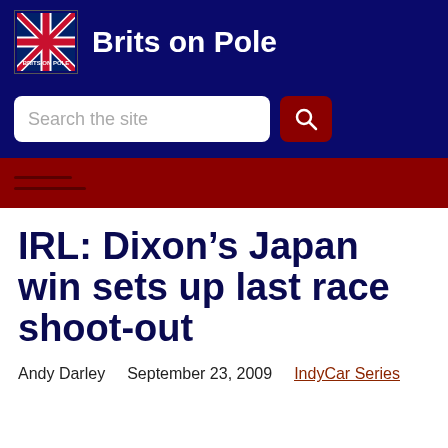Brits on Pole
Search the site
IRL: Dixon’s Japan win sets up last race shoot-out
Andy Darley   September 23, 2009   IndyCar Series